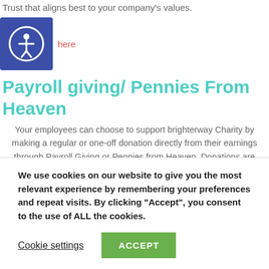Trust that aligns best to your company's values.
here
[Figure (logo): Accessibility icon: blue square with white human figure inside a circle]
Payroll giving/ Pennies From Heaven
Your employees can choose to support brighterway Charity by making a regular or one-off donation directly from their earnings through Payroll Giving or Pennies from Heaven. Donations are deducted from salaries before Income Tax is applied, meaning they receive tax relief on their donation. Why
We use cookies on our website to give you the most relevant experience by remembering your preferences and repeat visits. By clicking "Accept", you consent to the use of ALL the cookies.
Cookie settings
ACCEPT